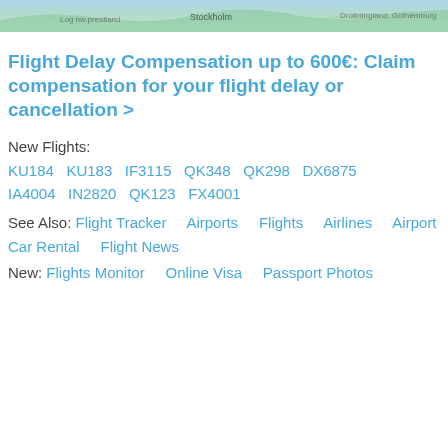[Figure (map): Partial map banner showing Stockholm area geography in blue/green tones]
Flight Delay Compensation up to 600€: Claim compensation for your flight delay or cancellation >
New Flights: KU184  KU183  IF3115  QK348  QK298  DX6875  IA4004  IN2820  QK123  FX4001
See Also: Flight Tracker    Airports    Flights    Airlines    Airport Car Rental    Flight News
New: Flights Monitor    Online Visa    Passport Photos